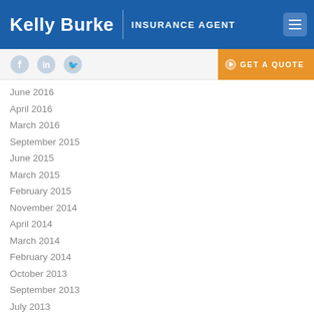Kelly Burke | INSURANCE AGENT
June 2016
April 2016
March 2016
September 2015
June 2015
March 2015
February 2015
November 2014
April 2014
March 2014
February 2014
October 2013
September 2013
July 2013
June 2013
April 2013
March 2013
February 2013